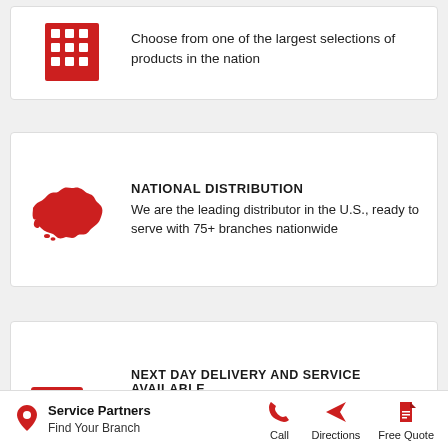[Figure (illustration): Red building/warehouse icon with grid windows at top, partially cropped]
Choose from one of the largest selections of products in the nation
[Figure (illustration): Red silhouette map of the United States]
NATIONAL DISTRIBUTION
We are the leading distributor in the U.S., ready to serve with 75+ branches nationwide
[Figure (illustration): Red delivery truck icon]
NEXT DAY DELIVERY AND SERVICE AVAILABLE
Get the supplies you need to move your project forward on time
[Figure (illustration): Red location pin icon in footer]
Service Partners
Find Your Branch
[Figure (illustration): Red phone icon, red directions/arrow icon, red document/quote icon in footer]
Call   Directions   Free Quote